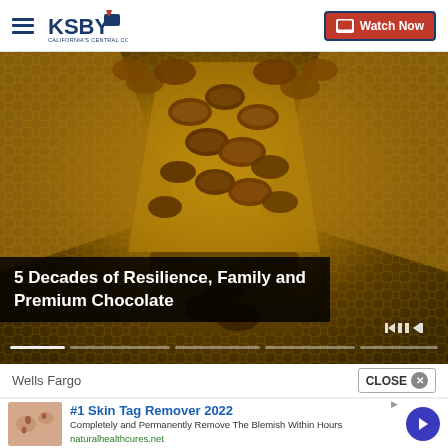KSBY California's Central Coast — Watch Now
[Figure (photo): Close-up industrial shot of chocolate coins/discs falling through golden metal mesh machinery conveyor in a chocolate factory]
5 Decades of Resilience, Family and Premium Chocolate
Wells Fargo
CLOSE
[Figure (photo): Skin tag close-up photo used in advertisement]
#1 Skin Tag Remover 2022
Completely and Permanently Remove The Blemish Within Hours
naturalhealthcures.net